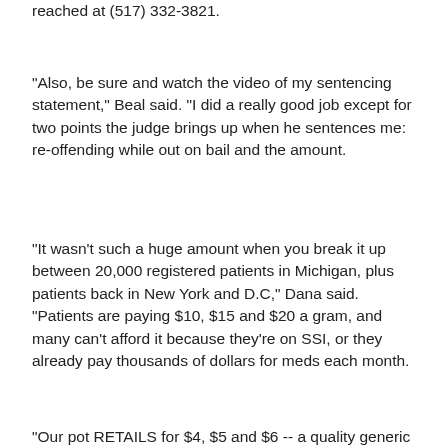reached at (517) 332-3821.
"Also, be sure and watch the video of my sentencing statement," Beal said. "I did a really good job except for two points the judge brings up when he sentences me: re-offending while out on bail and the amount.
"It wasn't such a huge amount when you break it up between 20,000 registered patients in Michigan, plus patients back in New York and D.C," Dana said. "Patients are paying $10, $15 and $20 a gram, and many can't afford it because they're on SSI, or they already pay thousands of dollars for meds each month.
"Our pot RETAILS for $4, $5 and $6 -- a quality generic product